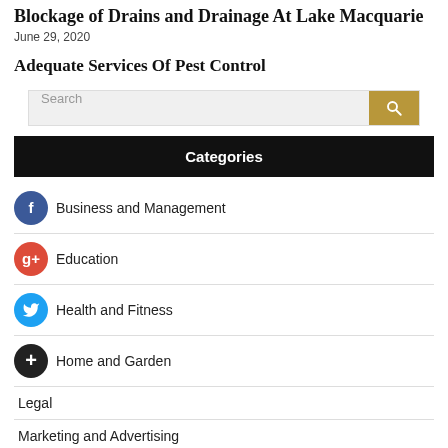Blockage of Drains and Drainage At Lake Macquarie
June 29, 2020
Adequate Services Of Pest Control
[Figure (other): Search bar with text input and gold search button]
Categories
Business and Management
Education
Health and Fitness
Home and Garden
Legal
Marketing and Advertising